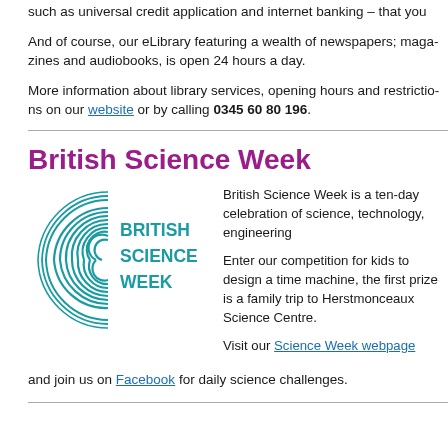such as universal credit application and internet banking – that you
And of course, our eLibrary featuring a wealth of newspapers; magazines and audiobooks, is open 24 hours a day.
More information about library services, opening hours and restrictions on our website or by calling 0345 60 80 196.
British Science Week
[Figure (logo): British Science Week logo with concentric arc lines on the left and text 'BRITISH SCIENCE WEEK' in teal/blue on the right]
British Science Week is a ten-day celebration of science, technology, engineering and maths.
Enter our competition for kids to design a time machine, the first prize is a family trip to Herstmonceaux Science Centre.
Visit our Science Week webpage and join us on Facebook for daily science challenges.